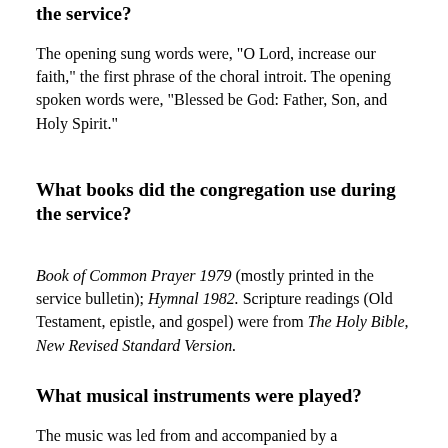the service?
The opening sung words were, "O Lord, increase our faith," the first phrase of the choral introit. The opening spoken words were, "Blessed be God: Father, Son, and Holy Spirit."
What books did the congregation use during the service?
Book of Common Prayer 1979 (mostly printed in the service bulletin); Hymnal 1982. Scripture readings (Old Testament, epistle, and gospel) were from The Holy Bible, New Revised Standard Version.
What musical instruments were played?
The music was led from and accompanied by a sturdy dove pipe organ, an opus of the Panter...